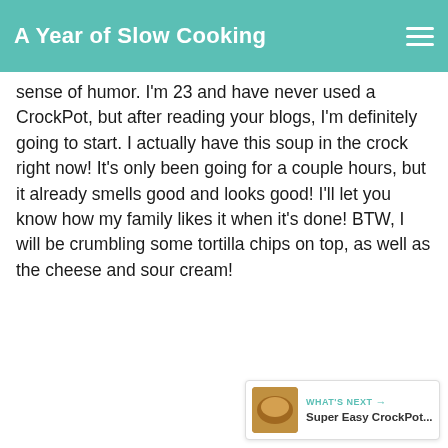A Year of Slow Cooking
sense of humor. I'm 23 and have never used a CrockPot, but after reading your blogs, I'm definitely going to start. I actually have this soup in the crock right now! It's only been going for a couple hours, but it already smells good and looks good! I'll let you know how my family likes it when it's done! BTW, I will be crumbling some tortilla chips on top, as well as the cheese and sour cream!
DELETE
18
STEPHANIE ODEA
8/04/2008
Hi Jessica,
WHAT'S NEXT → Super Easy CrockPot...